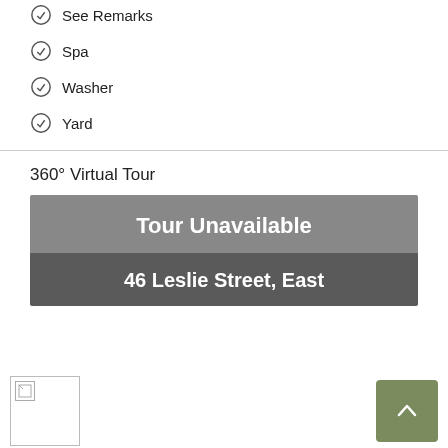See Remarks
Spa
Washer
Yard
360° Virtual Tour
[Figure (screenshot): Tour Unavailable banner with address '46 Leslie Street, East']
Footer area with logo image and back-to-top button